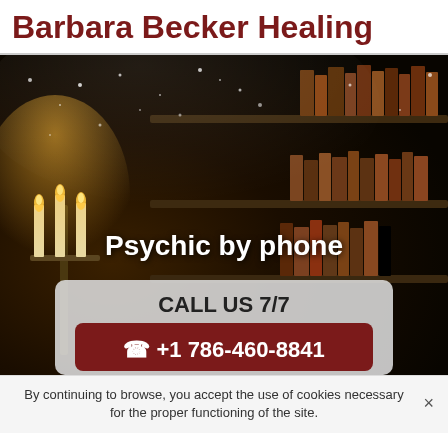Barbara Becker Healing
[Figure (illustration): Dark mystical library background with candelabra, bookshelves, glowing candles, and star/sparkle effects. Overlay text reads 'Psychic by phone'. Below it a semi-transparent call-to-action box with 'CALL US 7/7' and a dark red button showing '+1 786-460-8841'.]
By continuing to browse, you accept the use of cookies necessary for the proper functioning of the site.